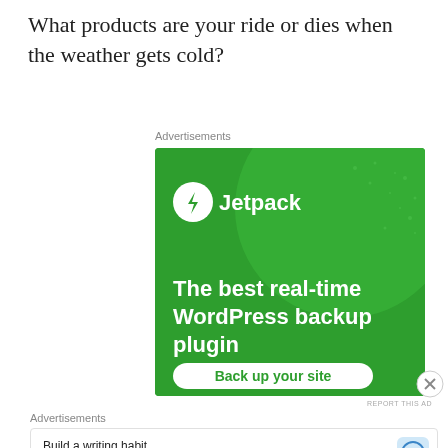What products are your ride or dies when the weather gets cold?
Advertisements
[Figure (screenshot): Jetpack advertisement banner with green background. Shows Jetpack logo and text: 'The best real-time WordPress backup plugin' with a 'Back up your site' button.]
REPORT THIS AD
Advertisements
[Figure (screenshot): WordPress app advertisement: 'Build a writing habit. Post on the go.' with GET THE APP button and WordPress logo.]